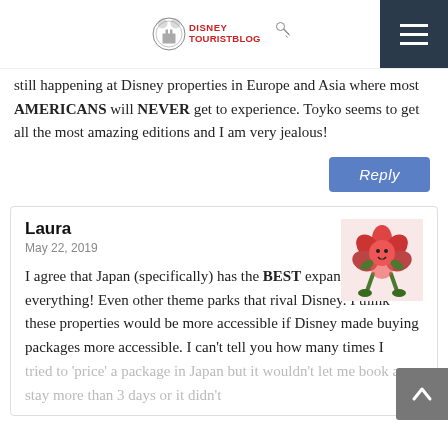DisneyTouristBlog
still happening at Disney properties in Europe and Asia where most AMERICANS will NEVER get to experience. Toyko seems to get all the most amazing editions and I am very jealous!
Laura
May 22, 2019
I agree that Japan (specifically) has the BEST expansions for everything! Even other theme parks that rival Disney. I think these properties would be more accessible if Disney made buying packages more accessible. I can't tell you how many times I tried to 'price' a package in Japan but it wouldn't let me book a stay more than 3 days or it didn't